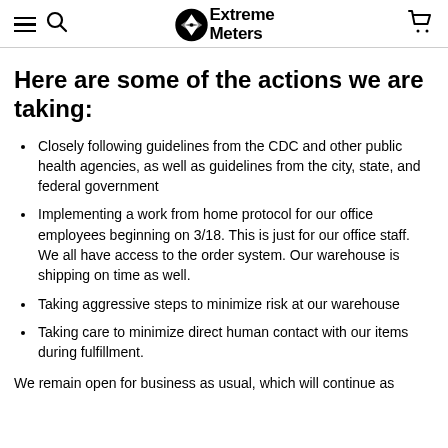Extreme Meters
Here are some of the actions we are taking:
Closely following guidelines from the CDC and other public health agencies, as well as guidelines from the city, state, and federal government
Implementing a work from home protocol for our office employees beginning on 3/18. This is just for our office staff. We all have access to the order system. Our warehouse is shipping on time as well.
Taking aggressive steps to minimize risk at our warehouse
Taking care to minimize direct human contact with our items during fulfillment.
We remain open for business as usual, which will continue as